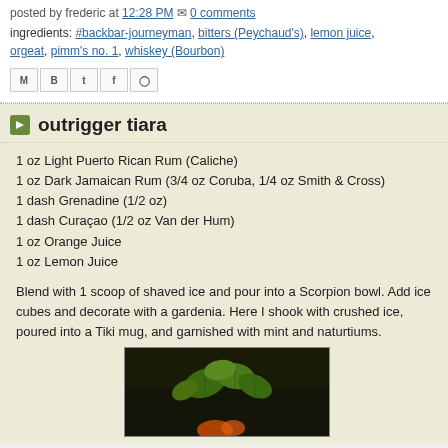posted by frederic at 12:28 PM ✉ 0 comments
ingredients: #backbar-journeyman, bitters (Peychaud's), lemon juice, orgeat, pimm's no. 1, whiskey (Bourbon)
[Figure (other): Social share buttons: M (email), B (Blogger), T (Twitter), F (Facebook), Pinterest]
outrigger tiara
1 oz Light Puerto Rican Rum (Caliche)
1 oz Dark Jamaican Rum (3/4 oz Coruba, 1/4 oz Smith & Cross)
1 dash Grenadine (1/2 oz)
1 dash Curaçao (1/2 oz Van der Hum)
1 oz Orange Juice
1 oz Lemon Juice
Blend with 1 scoop of shaved ice and pour into a Scorpion bowl. Add ice cubes and decorate with a gardenia. Here I shook with crushed ice, poured into a Tiki mug, and garnished with mint and naturtiums.
[Figure (photo): Close-up photo of mint leaves and an orange flower/garnish in a dark background, likely a Tiki drink garnish]